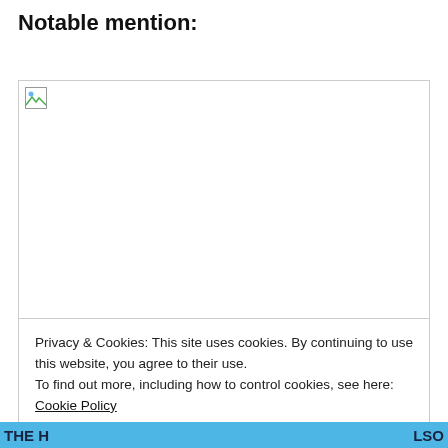Notable mention:
[Figure (illustration): Broken image placeholder — a small image icon with a torn/missing image symbol inside a bordered rectangle area]
Privacy & Cookies: This site uses cookies. By continuing to use this website, you agree to their use.
To find out more, including how to control cookies, see here: Cookie Policy
Close and accept
THE H... ALSO